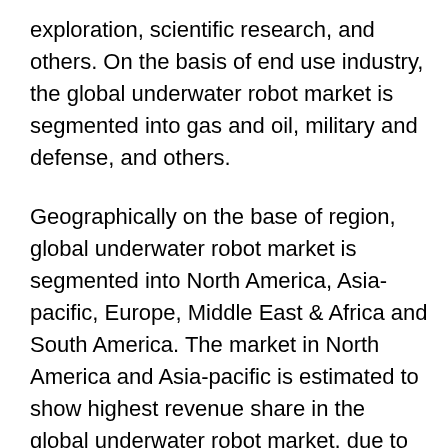exploration, scientific research, and others. On the basis of end use industry, the global underwater robot market is segmented into gas and oil, military and defense, and others.
Geographically on the base of region, global underwater robot market is segmented into North America, Asia-pacific, Europe, Middle East & Africa and South America. The market in North America and Asia-pacific is estimated to show highest revenue share in the global underwater robot market, due to higher adoption of underwater robots in the defense sector in the region.
Underwater Robot Market: Key Players